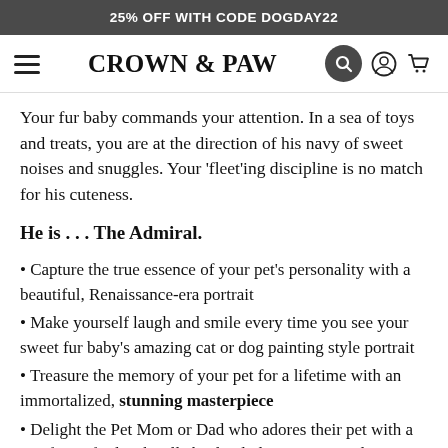25% OFF WITH CODE DOGDAY22
[Figure (logo): Crown & Paw logo with hamburger menu, search, account and cart icons]
Your fur baby commands your attention. In a sea of toys and treats, you are at the direction of his navy of sweet noises and snuggles. Your 'fleet'ing discipline is no match for his cuteness.
He is . . . The Admiral.
Capture the true essence of your pet's personality with a beautiful, Renaissance-era portrait
Make yourself laugh and smile every time you see your sweet fur baby's amazing cat or dog painting style portrait
Treasure the memory of your pet for a lifetime with an immortalized, stunning masterpiece
Delight the Pet Mom or Dad who adores their pet with a purrfect gift idea they'll absolutely love - a cat or dog